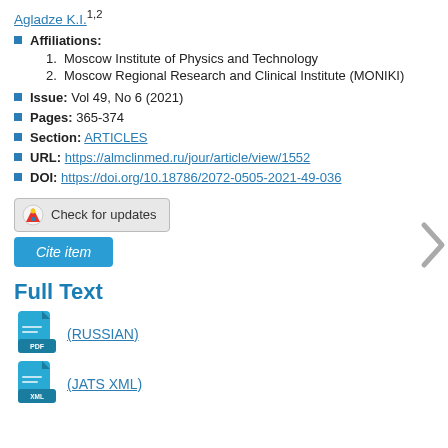Agladze K.I.¹²
Affiliations:
1. Moscow Institute of Physics and Technology
2. Moscow Regional Research and Clinical Institute (MONIKI)
Issue: Vol 49, No 6 (2021)
Pages: 365-374
Section: ARTICLES
URL: https://almclinmed.ru/jour/article/view/1552
DOI: https://doi.org/10.18786/2072-0505-2021-49-036
[Figure (other): Check for updates button]
[Figure (other): Cite item button]
Full Text
[Figure (other): PDF file icon link (RUSSIAN)]
[Figure (other): XML file icon link (JATS XML)]